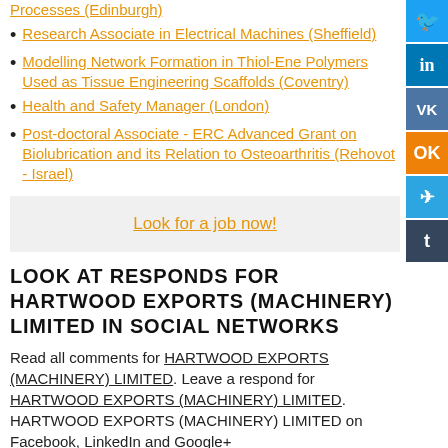Processes (Edinburgh)
Research Associate in Electrical Machines (Sheffield)
Modelling Network Formation in Thiol-Ene Polymers Used as Tissue Engineering Scaffolds (Coventry)
Health and Safety Manager (London)
Post-doctoral Associate - ERC Advanced Grant on Biolubrication and its Relation to Osteoarthritis (Rehovot - Israel)
Look for a job now!
LOOK AT RESPONDS FOR HARTWOOD EXPORTS (MACHINERY) LIMITED IN SOCIAL NETWORKS
Read all comments for HARTWOOD EXPORTS (MACHINERY) LIMITED. Leave a respond for HARTWOOD EXPORTS (MACHINERY) LIMITED. HARTWOOD EXPORTS (MACHINERY) LIMITED on Facebook, LinkedIn and Google+